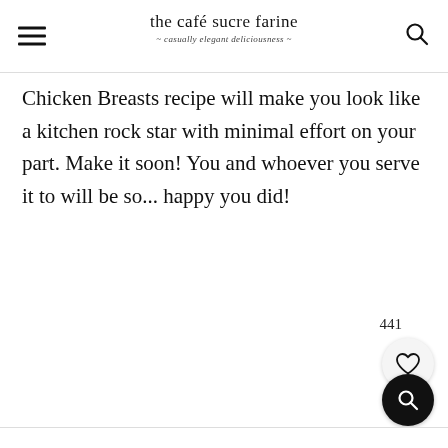the café sucre farine — casually elegant deliciousness
Chicken Breasts recipe will make you look like a kitchen rock star with minimal effort on your part. Make it soon! You and whoever you serve it to will be so... happy you did!